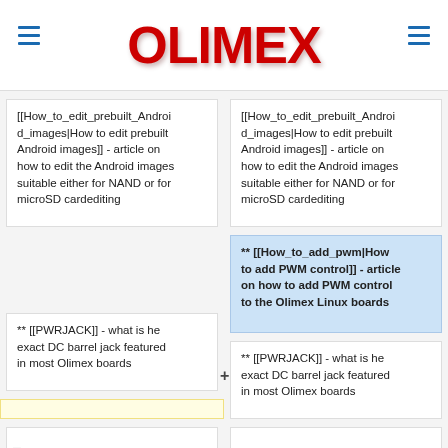OLIMEX
[[How_to_edit_prebuilt_Android_images|How to edit prebuilt Android images]] - article on how to edit the Android images suitable either for NAND or for microSD cardediting
[[How_to_edit_prebuilt_Android_images|How to edit prebuilt Android images]] - article on how to edit the Android images suitable either for NAND or for microSD cardediting
** [[How_to_add_pwm|How to add PWM control]] - article on how to add PWM control to the Olimex Linux boards
** [[PWRJACK]] - what is he exact DC barrel jack featured in most Olimex boards
** [[PWRJACK]] - what is he exact DC barrel jack featured in most Olimex boards